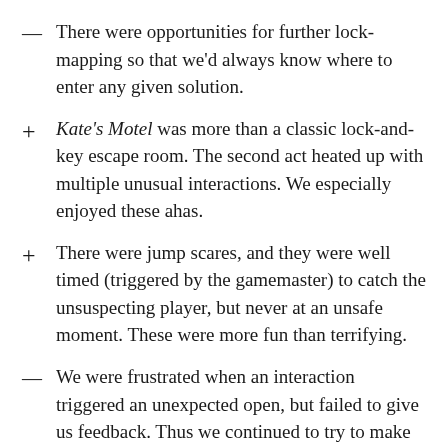— There were opportunities for further lock-mapping so that we'd always know where to enter any given solution.
+ Kate's Motel was more than a classic lock-and-key escape room. The second act heated up with multiple unusual interactions. We especially enjoyed these ahas.
+ There were jump scares, and they were well timed (triggered by the gamemaster) to catch the unsuspecting player, but never at an unsafe moment. These were more fun than terrifying.
— We were frustrated when an interaction triggered an unexpected open, but failed to give us feedback. Thus we continued to try to make sense of our actions in the usual way. We lost a lot of time trying to comprehend the incomprehensible.
— There was room for polish. Throughout the set, the